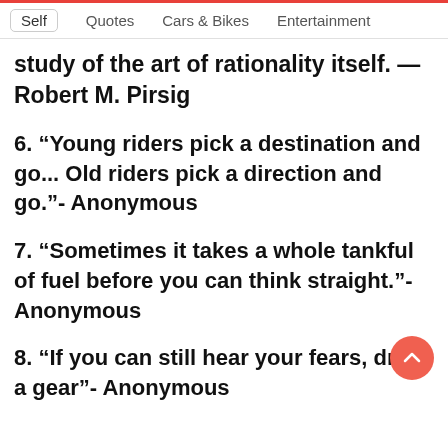Self  Quotes  Cars & Bikes  Entertainment
study of the art of rationality itself. — Robert M. Pirsig
6. “Young riders pick a destination and go... Old riders pick a direction and go.”- Anonymous
7. “Sometimes it takes a whole tankful of fuel before you can think straight.”- Anonymous
8. “If you can still hear your fears, drop a gear”- Anonymous